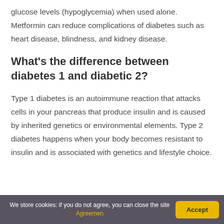glucose levels (hypoglycemia) when used alone. Metformin can reduce complications of diabetes such as heart disease, blindness, and kidney disease.
What's the difference between diabetes 1 and diabetic 2?
Type 1 diabetes is an autoimmune reaction that attacks cells in your pancreas that produce insulin and is caused by inherited genetics or environmental elements. Type 2 diabetes happens when your body becomes resistant to insulin and is associated with genetics and lifestyle choice.
We store cookies: if you do not agree, you can close the site Agreemen | Accept